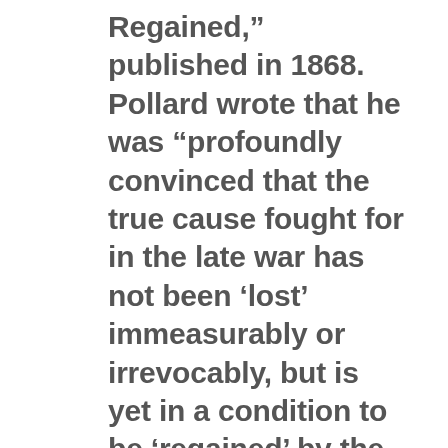Regained," published in 1868. Pollard wrote that he was “profoundly convinced that the true cause fought for in the late war has not been ‘lost’ immeasurably or irrevocably, but is yet in a condition to be ‘regained’ by the South on ultimate issues of the political contest.” The issue was no longer slavery, but white supremacy, which Pollard described as the “true cause of the war” and the “true hope of the South.”